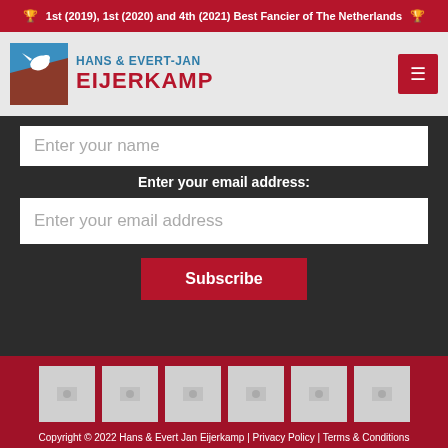🏆 1st (2019), 1st (2020) and 4th (2021) Best Fancier of The Netherlands 🏆
[Figure (logo): Hans & Evert-Jan Eijerkamp logo with pigeon graphic in blue and red colors]
Enter your name
Enter your email address:
Enter your email address
Subscribe
[Figure (photo): Six small gray placeholder image thumbnails in the red footer area]
Copyright © 2022 Hans & Evert Jan Eijerkamp | Privacy Policy | Terms & Conditions